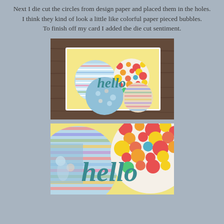Next I die cut the circles from design paper and placed them in the holes.
I think they kind of look a little like colorful paper pieced bubbles.
To finish off my card I added the die cut sentiment.
[Figure (photo): Photo of a handmade greeting card propped against a wooden background. The card has a yellow background with three large overlapping circles filled with colorful patterned paper (stripes, floral, polka dots), and a teal 'hello' die cut sentiment layered on top.]
[Figure (photo): Close-up photo of the same handmade card showing detail of the colorful patterned paper circles (stripes, floral, polka dots) and the teal 'hello' die cut sentiment on a yellow card base.]